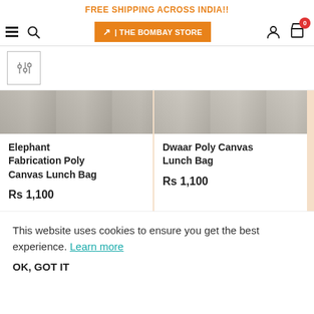FREE SHIPPING ACROSS INDIA!!
[Figure (logo): The Bombay Store logo with navigation icons: hamburger menu, search, logo button, user icon, cart with badge 0]
[Figure (other): Filter/sort icon button]
Elephant Fabrication Poly Canvas Lunch Bag
Rs 1,100
Dwaar Poly Canvas Lunch Bag
Rs 1,100
This website uses cookies to ensure you get the best experience. Learn more
OK, GOT IT